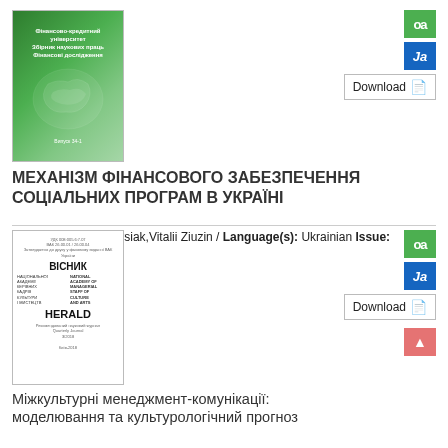[Figure (illustration): Green journal cover with map of Ukraine/Eastern Europe]
МЕХАНІЗМ ФІНАНСОВОГО ЗАБЕЗПЕЧЕННЯ СОЦІАЛЬНИХ ПРОГРАМ В УКРАЇНІ
Author(s): Liubov Lysiak,Vitalii Ziuzin / Language(s): Ukrainian Issue: 37/2018
More...
[Figure (illustration): White journal cover: Вісник / HERALD - National Academy of Managerial Staff of Culture and Arts]
Міжкультурні менеджмент-комунікації: моделювання та культурологічний прогноз